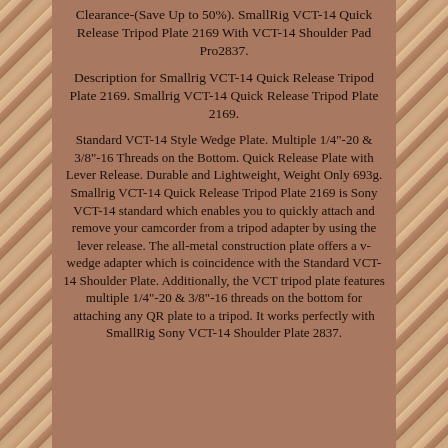Clearance-(Save Up to 50%). SmallRig VCT-14 Quick Release Tripod Plate 2169 With VCT-14 Shoulder Pad Pro2837.
Description for Smallrig VCT-14 Quick Release Tripod Plate 2169. Smallrig VCT-14 Quick Release Tripod Plate 2169.
Standard VCT-14 Style Wedge Plate. Multiple 1/4"-20 & 3/8"-16 Threads on the Bottom. Quick Release Plate with Lever Release. Durable and Lightweight, Weight Only 693g. Smallrig VCT-14 Quick Release Tripod Plate 2169 is Sony VCT-14 standard which enables you to quickly attach and remove your camcorder from a tripod adapter by using the lever release. The all-metal construction plate offers a v-wedge adapter which is coincidence with the Standard VCT-14 Shoulder Plate. Additionally, the VCT tripod plate features multiple 1/4"-20 & 3/8"-16 threads on the bottom for attaching any QR plate to a tripod. It works perfectly with SmallRig Sony VCT-14 Shoulder Plate 2837.